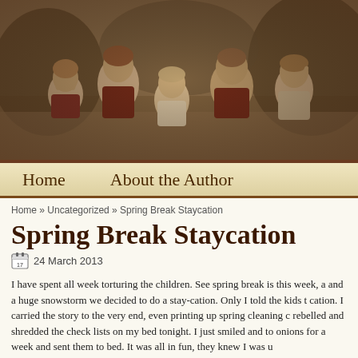[Figure (photo): Sepia-toned family photo of five children posing together outdoors with trees in the background, used as a blog header image.]
Home   About the Author
Home » Uncategorized » Spring Break Staycation
Spring Break Staycation
24 March 2013
I have spent all week torturing the children. See spring break is this week, a and a huge snowstorm we decided to do a stay-cation. Only I told the kids t cation. I carried the story to the very end, even printing up spring cleaning c rebelled and shredded the check lists on my bed tonight. I just smiled and to onions for a week and sent them to bed. It was all in fun, they knew I was u
After the kids were all in bed, I went downstairs and blasted some music. T the stairs to see what in the world was wrong. There sitting in the living roo Basket. It included their itineraries for the week. It was also loaded with ne